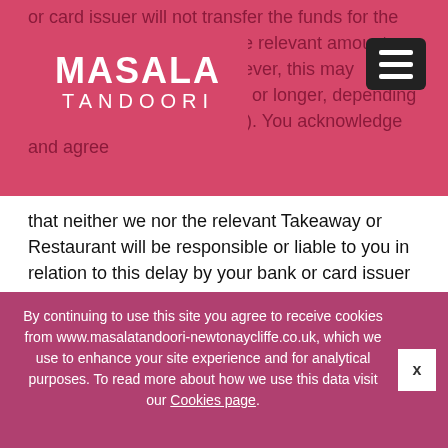[Figure (logo): Masala Tandoori restaurant logo in white text on pink/rose background]
or card issuer will not transfer the funds for the Order to us, we will try to return the relevant amount back into your payment method. However, this may take between 5 and 10 working days (or longer, depending on your bank or card issuer). You acknowledge and agree that neither we nor the relevant Takeaway or Restaurant will be responsible or liable to you in relation to this delay by your bank or card issuer in the release of funds back into your account.
You should contact the third party provider in the first instance should You require and further information about a product or have a query or complaint. We will try to resolve any disputes between you and any third party
By continuing to use this site you agree to receive cookies from www.masalatandoori-newtonaycliffe.co.uk, which we use to enhance your site experience and for analytical purposes. To read more about how we use this data visit our Cookies page.